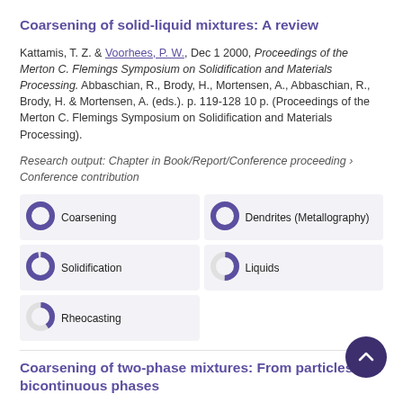Coarsening of solid-liquid mixtures: A review
Kattamis, T. Z. & Voorhees, P. W., Dec 1 2000, Proceedings of the Merton C. Flemings Symposium on Solidification and Materials Processing. Abbaschian, R., Brody, H., Mortensen, A., Abbaschian, R., Brody, H. & Mortensen, A. (eds.). p. 119-128 10 p. (Proceedings of the Merton C. Flemings Symposium on Solidification and Materials Processing).
Research output: Chapter in Book/Report/Conference proceeding › Conference contribution
[Figure (infographic): Five keyword fingerprint badges: Coarsening 100%, Dendrites (Metallography) 100%, Solidification 100%, Liquids ~50%, Rheocasting ~40%]
Coarsening of two-phase mixtures: From particles to bicontinuous phases
Thompson, J., Gulsoy, E. B., Park, C. L., Thornton, K. & Voorhees, P. W., 2015, PTM 2015 - Proceedings of the International Conference on Solid-Solid Phase Transformations